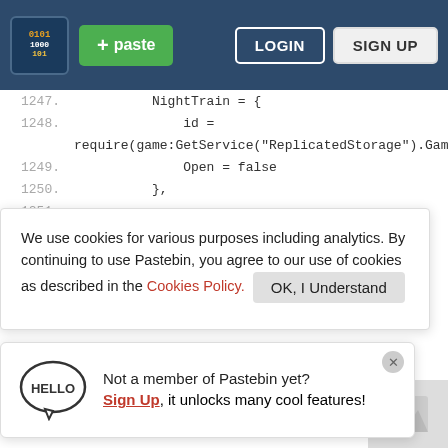[Figure (screenshot): Pastebin website header with logo, green paste button, LOGIN and SIGN UP buttons on dark blue background]
1247.        NightTrain = {
1248.            id =
             require(game:GetService("ReplicatedStorage").Game.Ro
1249.            Open = false
1250.        },
1251.
1252.            re
1253.            Open = false
1254.
1255.
1256.
We use cookies for various purposes including analytics. By continuing to use Pastebin, you agree to our use of cookies as described in the Cookies Policy.   OK, I Understand
Not a member of Pastebin yet?
Sign Up, it unlocks many cool features!
require(game:GetService("ReplicatedStorage").Game.Ro
1257.            Open = false
1258.        },
1259.        CargoPlane = {